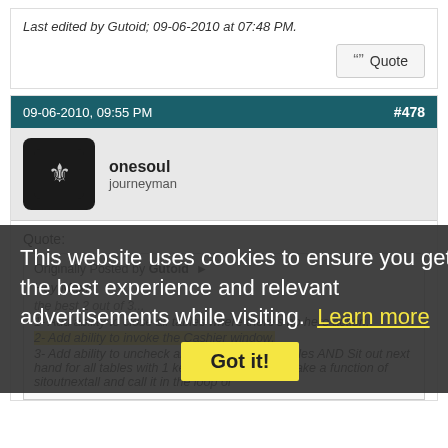Last edited by Gutoid; 09-06-2010 at 07:48 PM.
Quote
09-06-2010, 09:55 PM  #478
onesoul
journeyman
Quote:
Originally Posted by Gutoid
Hey Max!
1- Add ability to close all tables where there's no hero action
2- Add ability to invoke the Cashier window.
3- Add ability to uncheck all autoposts for all tables AND Sit out next hand for all tables with 1 keystroke. (I tried to make a function of sitoutnextall and call it in the loop of
This website uses cookies to ensure you get the best experience and relevant advertisements while visiting. Learn more
Got it!